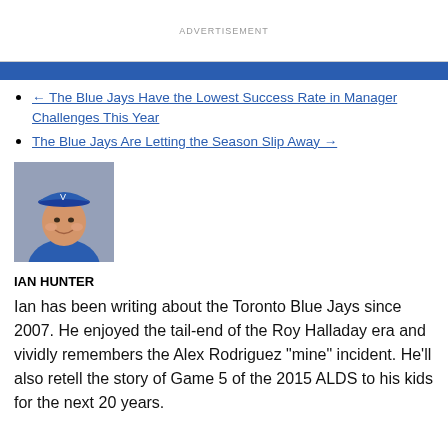ADVERTISEMENT
← The Blue Jays Have the Lowest Success Rate in Manager Challenges This Year
The Blue Jays Are Letting the Season Slip Away →
[Figure (photo): Headshot of Ian Hunter wearing a blue baseball cap]
IAN HUNTER
Ian has been writing about the Toronto Blue Jays since 2007. He enjoyed the tail-end of the Roy Halladay era and vividly remembers the Alex Rodriguez "mine" incident. He'll also retell the story of Game 5 of the 2015 ALDS to his kids for the next 20 years.